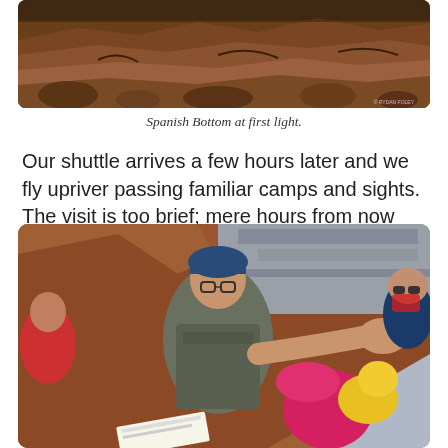[Figure (photo): Top portion of a landscape photo showing red rock canyon terrain at first light, with reddish-brown rocky cliffs and boulders. A small watermark is visible in the bottom right corner.]
Spanish Bottom at first light.
Our shuttle arrives a few hours later and we fly upriver passing familiar camps and sights. The visit is too brief; mere hours from now we’ll be on the plane and flying back to winter. Dreaming of sun and sand.
[Figure (photo): Photo of a person wearing a life vest and glasses holding a child in a pink jacket and hat on a motorized river raft, with red canyon walls in the background and other passengers visible.]